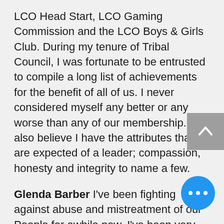LCO Head Start, LCO Gaming Commission and the LCO Boys & Girls Club. During my tenure of Tribal Council, I was fortunate to be entrusted to compile a long list of achievements for the benefit of all of us. I never considered myself any better or any worse than any of our membership. I also believe I have the attributes that are expected of a leader; compassion, honesty and integrity to name a few.
Glenda Barber I've been fighting against abuse and mistreatment of our People for awhile now. I've been very vocal and I will continue to fight no matter what. I also have 20 years' experience in housing development and will work for an assisted living